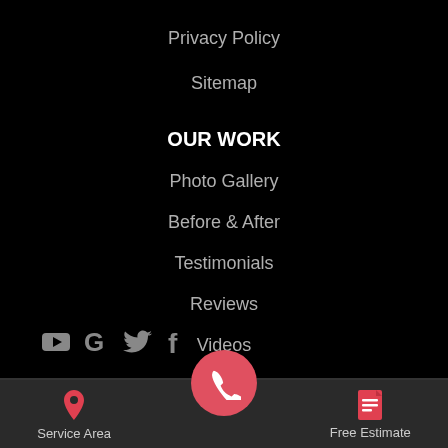Privacy Policy
Sitemap
OUR WORK
Photo Gallery
Before & After
Testimonials
Reviews
Videos
[Figure (other): Social media icons: YouTube, Google, Twitter, Facebook]
Service Area | [phone] | Free Estimate